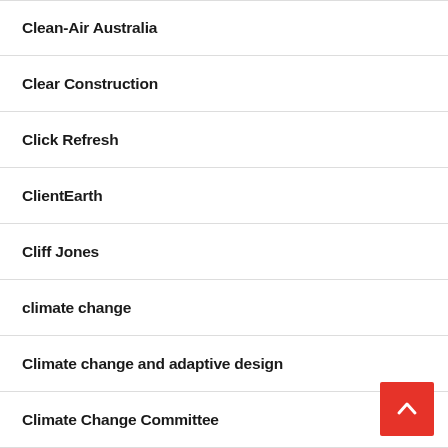Clean-Air Australia
Clear Construction
Click Refresh
ClientEarth
Cliff Jones
climate change
Climate change and adaptive design
Climate Change Committee